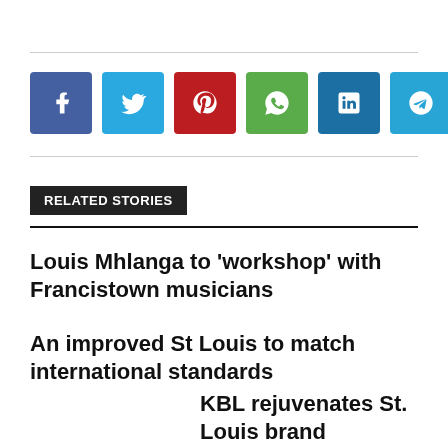[Figure (other): Row of six social media share buttons: Facebook (blue), Twitter (light blue), Pinterest (red), WhatsApp (green), LinkedIn (dark blue), Telegram (cyan)]
RELATED STORIES
Louis Mhlanga to 'workshop' with Francistown musicians
An improved St Louis to match international standards
KBL rejuvenates St. Louis brand